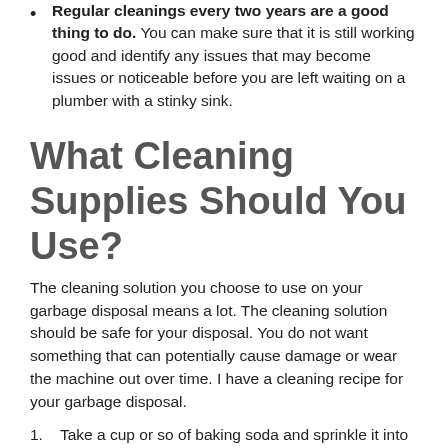Regular cleanings every two years are a good thing to do. You can make sure that it is still working good and identify any issues that may become issues or noticeable before you are left waiting on a plumber with a stinky sink.
What Cleaning Supplies Should You Use?
The cleaning solution you choose to use on your garbage disposal means a lot. The cleaning solution should be safe for your disposal. You do not want something that can potentially cause damage or wear the machine out over time. I have a cleaning recipe for your garbage disposal.
Take a cup or so of baking soda and sprinkle it into your sink with the water OFF. This will remove any smells and shine things up a bit. In this case, it will help release any clogs that may be down in the disposal.